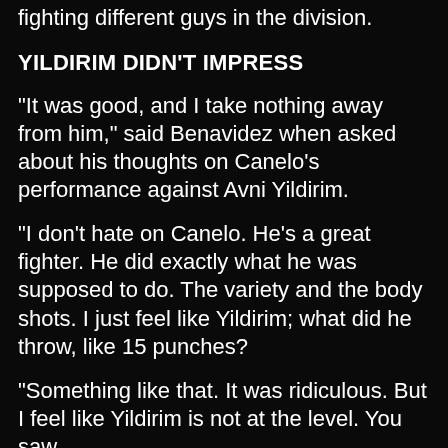fighting different guys in the division.
YILDIRIM DIDN'T IMPRESS
“It was good, and I take nothing away from him,” said Benavidez when asked about his thoughts on Canelo’s performance against Avni Yildirim.
“I don’t hate on Canelo. He’s a great fighter. He did exactly what he was supposed to do. The variety and the body shots. I just feel like Yildirim; what did he throw, like 15 punches?
“Something like that. It was ridiculous. But I feel like Yildirim is not at the level. You saw